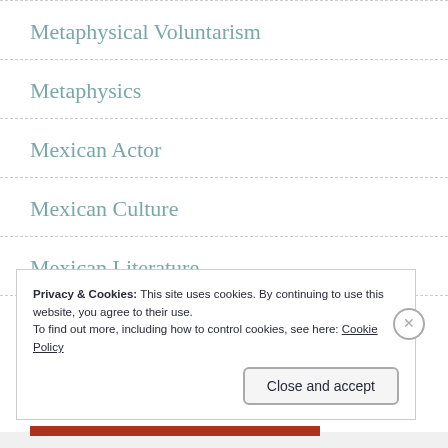Metaphysical Voluntarism
Metaphysics
Mexican Actor
Mexican Culture
Mexican Literature
Privacy & Cookies: This site uses cookies. By continuing to use this website, you agree to their use.
To find out more, including how to control cookies, see here: Cookie Policy
Close and accept